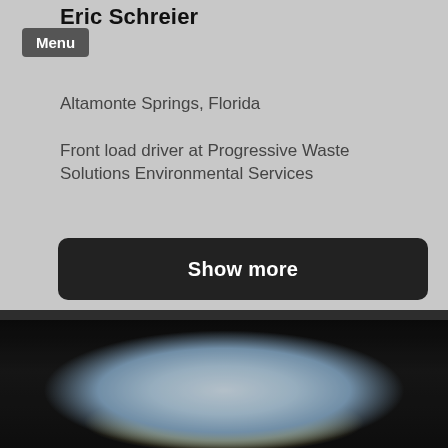Eric Schreier
Menu
Altamonte Springs, Florida
Front load driver at Progressive Waste Solutions Environmental Services
Show more
[Figure (photo): Blurry photograph showing what appears to be a white dome-shaped structure or hat, possibly on a garbage truck, viewed from below against a dark background with some bokeh lights.]